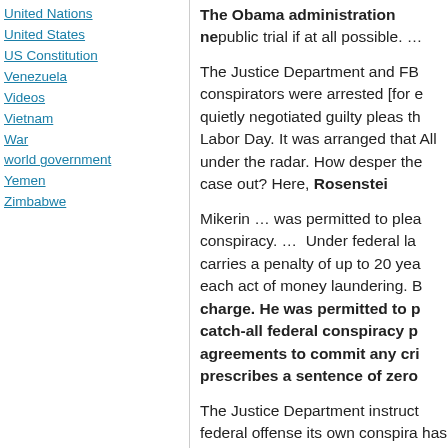United Nations
United States
US Constitution
Venezuela
Videos
Vietnam
War
world government
Yemen
Zimbabwe
The Obama administration ne... public trial if at all possible. …
The Justice Department and FB... conspirators were arrested [for c... quietly negotiated guilty pleas th... Labor Day. It was arranged that ... All under the radar. How desper... the case out? Here, Rosenstei...
Mikerin ... was permitted to plea... conspiracy. … Under federal la... carries a penalty of up to 20 yea... each act of money laundering. B... charge. He was permitted to p... catch-all federal conspiracy p... agreements to commit any cri... prescribes a sentence of zero...
The Justice Department instruct... federal offense its own conspira... has for money laundering, racke... crimes), they may not charge a ... serious conspiracy cases. Using... sentence way below Congress's... and signals to the court that the...